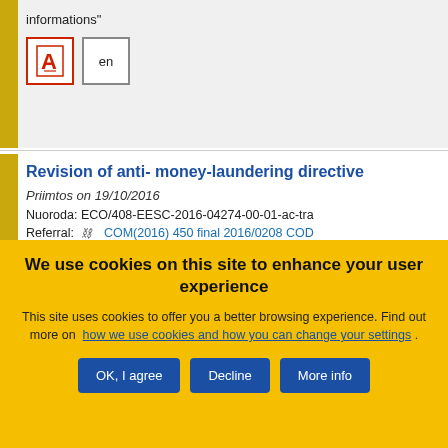informations"
[Figure (other): PDF icon button and 'en' language button]
Revision of anti- money-laundering directive
Priimtos on 19/10/2016
Nuoroda: ECO/408-EESC-2016-04274-00-01-ac-tra
Referral: COM(2016) 450 final 2016/0208 COD
We use cookies on this site to enhance your user experience
This site uses cookies to offer you a better browsing experience. Find out more on how we use cookies and how you can change your settings .
OK, I agree | Decline | More info